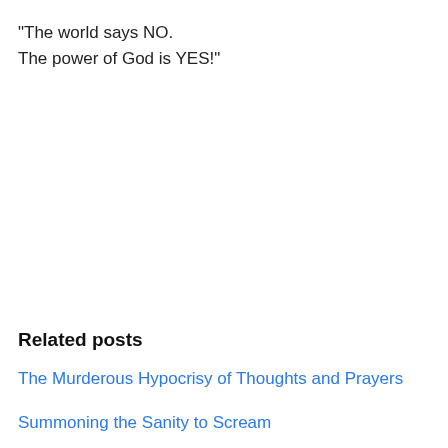“The world says NO.
The power of God is YES!”
Related posts
The Murderous Hypocrisy of Thoughts and Prayers
Summoning the Sanity to Scream
God Isn’t Fixing This